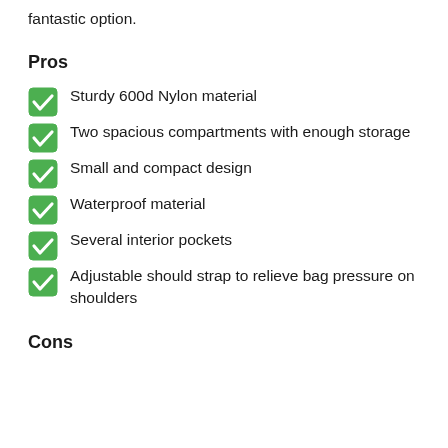fantastic option.
Pros
Sturdy 600d Nylon material
Two spacious compartments with enough storage
Small and compact design
Waterproof material
Several interior pockets
Adjustable should strap to relieve bag pressure on shoulders
Cons